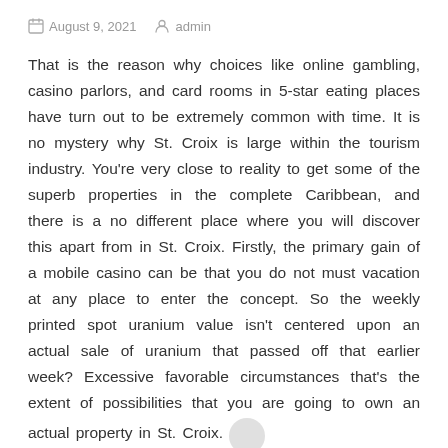August 9, 2021   admin
That is the reason why choices like online gambling, casino parlors, and card rooms in 5-star eating places have turn out to be extremely common with time. It is no mystery why St. Croix is large within the tourism industry. You're very close to reality to get some of the superb properties in the complete Caribbean, and there is a no different place where you will discover this apart from in St. Croix. Firstly, the primary gain of a mobile casino can be that you do not must vacation at any place to enter the concept. So the weekly printed spot uranium value isn't centered upon an actual sale of uranium that passed off that earlier week? Excessive favorable circumstances that's the extent of possibilities that you are going to own an actual property in St. Croix.
Want to personal gorgeous beachfront St. Croix actual